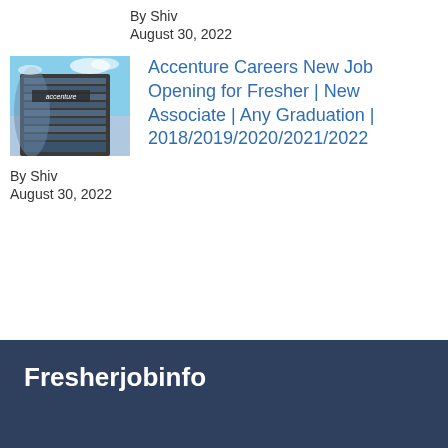By Shiv
August 30, 2022
[Figure (photo): Accenture office building exterior with accenture signage]
Accenture Careers New Job Opening for Fresher | New Associate | Any Graduation | 2018/2019/2020/2021/2022
By Shiv
August 30, 2022
Fresherjobinfo